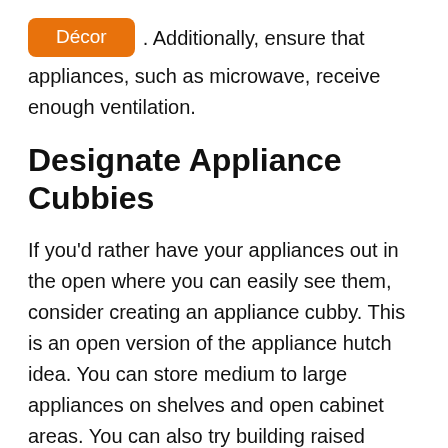Décor. Additionally, ensure that appliances, such as microwave, receive enough ventilation.
Designate Appliance Cubbies
If you'd rather have your appliances out in the open where you can easily see them, consider creating an appliance cubby. This is an open version of the appliance hutch idea. You can store medium to large appliances on shelves and open cabinet areas. You can also try building raised appliance cubbies to serve as a border